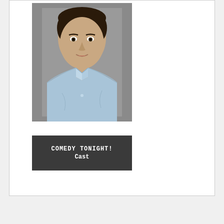[Figure (photo): Headshot of a young man wearing a light blue button-up shirt, against a gray background]
COMEDY TONIGHT!
Cast